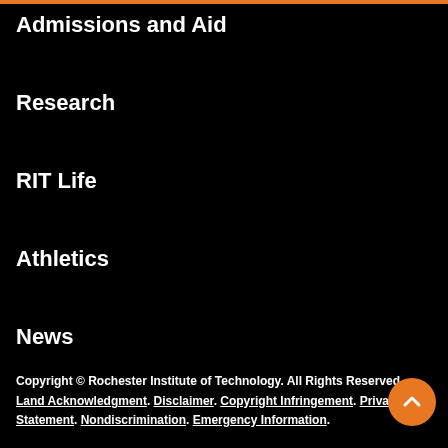Admissions and Aid
Research
RIT Life
Athletics
News
Copyright © Rochester Institute of Technology. All Rights Reserved. Land Acknowledgment. Disclaimer. Copyright Infringement. Privacy Statement. Nondiscrimination. Emergency Information.